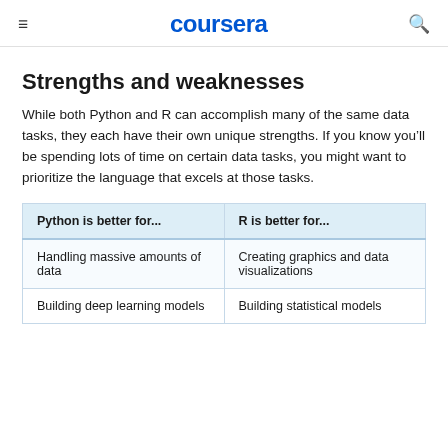coursera
Strengths and weaknesses
While both Python and R can accomplish many of the same data tasks, they each have their own unique strengths. If you know you’ll be spending lots of time on certain data tasks, you might want to prioritize the language that excels at those tasks.
| Python is better for... | R is better for... |
| --- | --- |
| Handling massive amounts of data | Creating graphics and data visualizations |
| Building deep learning models | Building statistical models |